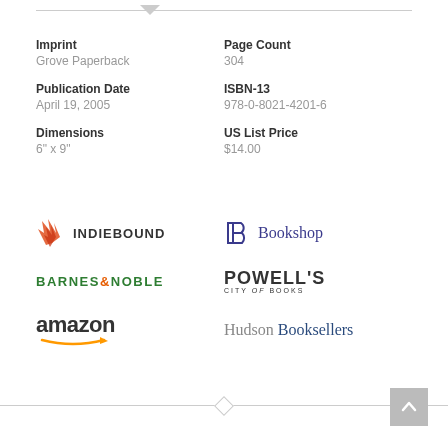Imprint
Grove Paperback
Page Count
304
Publication Date
April 19, 2005
ISBN-13
978-0-8021-4201-6
Dimensions
6" x 9"
US List Price
$14.00
[Figure (logo): IndieBound logo with orange/red wing icon and bold text INDIEBOUND]
[Figure (logo): Bookshop logo with stylized B icon in navy and text Bookshop in navy serif font]
[Figure (logo): Barnes & Noble logo in green bold text with orange ampersand]
[Figure (logo): Powell's City of Books logo in bold dark text]
[Figure (logo): Amazon logo with bold black text and orange arrow]
[Figure (logo): Hudson Booksellers logo in grey and navy serif text]